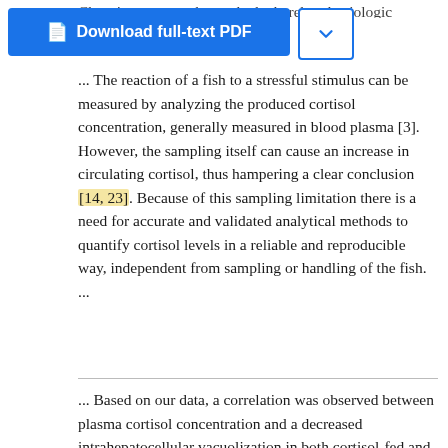Chronic stress can be evoked whereby physiologic ...prompted...
[Figure (screenshot): Blue 'Download full-text PDF' button and dropdown arrow button]
... The reaction of a fish to a stressful stimulus can be measured by analyzing the produced cortisol concentration, generally measured in blood plasma [3]. However, the sampling itself can cause an increase in circulating cortisol, thus hampering a clear conclusion [14, 23]. Because of this sampling limitation there is a need for accurate and validated analytical methods to quantify cortisol levels in a reliable and reproducible way, independent from sampling or handling of the fish. ...
... Based on our data, a correlation was observed between plasma cortisol concentration and a decreased intrahepatocellular vacuolization in both cortisol-fed and control fish, indicating alterations in hepatic energy storage correlated with increased plasma cortisol concentration. In the control group, this could be the
Advertisement
[Figure (photo): Thermo Fisher Scientific advertisement showing laboratory instrument. Text reads: 'Automated sample prep that puts you in control']